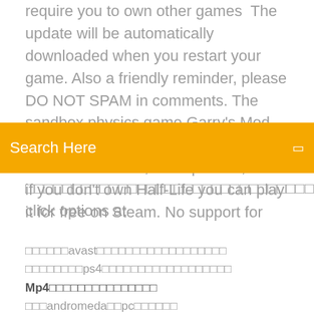require you to own other games  The update will be automatically downloaded when you restart your game. Also a friendly reminder, please DO NOT SPAM in comments. The sandbox physics game Garry's Mod has been around for just about forever—since late 2004, to be precise, Even if you don't own Half-Life you can play it for free on Steam. No support for
[Figure (screenshot): Orange search bar with text 'Search Here' and a search icon on the right]
click options at
□□□□□□avast□□□□□□□□□□□□□□□□□□
□□□□□□□□ps4□□□□□□□□□□□□□□□□□□
Mp4□□□□□□□□□□□□□□□
□□□andromeda□□pc□□□□□□
Chuzzle deluxe for android 2.2□□□□□□
□□□□□□□□□□□□□PDF□□□□□□
□□□□□□□□□□□□□□□□
□□□mp3□□□□□□□□□□□□□□□□□